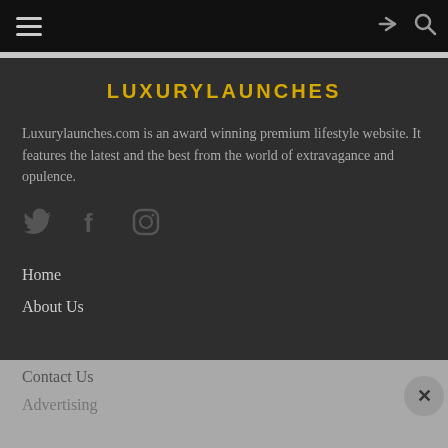LUXURYLAUNCHES — navigation bar with hamburger menu, share icon, and search icon
LUXURYLAUNCHES
Luxurylaunches.com is an award winning premium lifestyle website. It features the latest and the best from the world of extravagance and opulence.
[Figure (infographic): Social media icons: Twitter bird, Facebook f, Instagram camera]
Home
About Us
Contact Us
Advertising